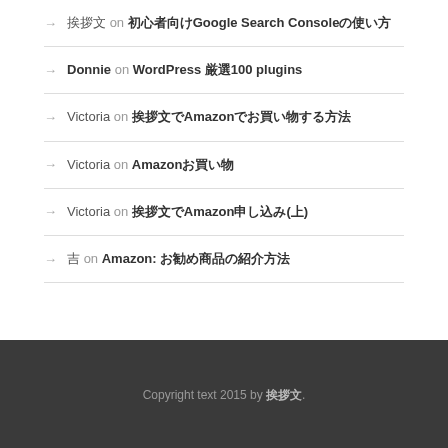挨拶文 on 初心者向けGoogle Search Consoleの使い方
Donnie on WordPress 厳選100 plugins
Victoria on 挨拶文でAmazonでお買い物する方法
Victoria on Amazonお買い物
Victoria on 挨拶文でAmazon申し込み(上)
吉 on Amazon: お勧め商品の紹介方法
Copyright text 2015 by 挨拶文.